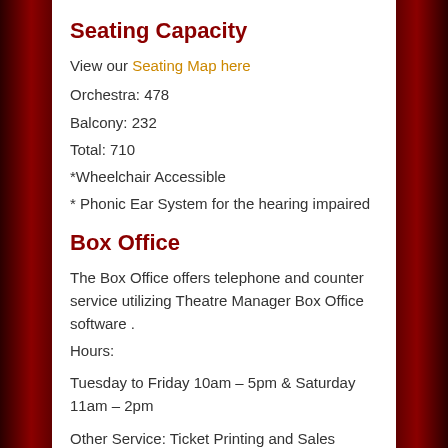Seating Capacity
View our Seating Map here
Orchestra: 478
Balcony: 232
Total: 710
*Wheelchair Accessible
* Phonic Ear System for the hearing impaired
Box Office
The Box Office offers telephone and counter service utilizing Theatre Manager Box Office software .
Hours:
Tuesday to Friday 10am – 5pm & Saturday 11am – 2pm
Other Service: Ticket Printing and Sales Subscriptions